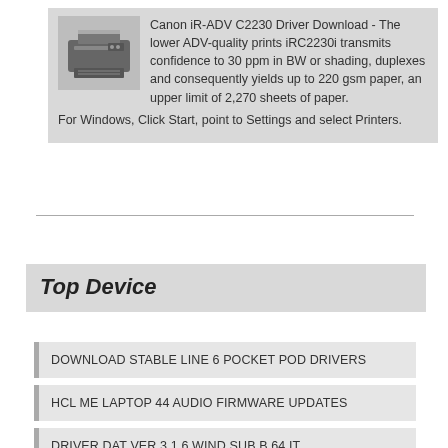[Figure (photo): Small grayscale image of a Canon iR-ADV C2230 printer/copier device]
Canon iR-ADV C2230 Driver Download - The lower ADV-quality prints iRC2230i transmits confidence to 30 ppm in BW or shading, duplexes and consequently yields up to 220 gsm paper, an upper limit of 2,270 sheets of paper. For Windows, Click Start, point to Settings and select Printers.
Top Device
DOWNLOAD STABLE LINE 6 POCKET POD DRIVERS
HCL ME LAPTOP 44 AUDIO FIRMWARE UPDATES
DRIVER DAT VER 3 1 6 WIND SUB B 64 IT